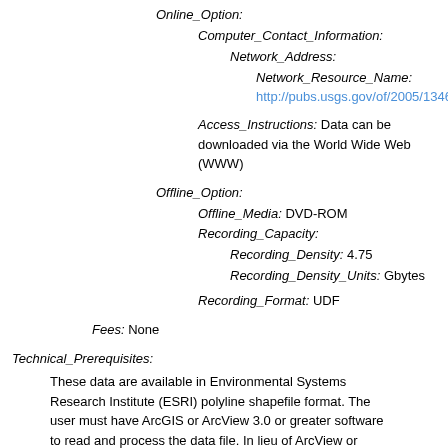Online_Option:
Computer_Contact_Information:
Network_Address:
Network_Resource_Name:
http://pubs.usgs.gov/of/2005/1346/arc…
Access_Instructions: Data can be downloaded via the World Wide Web (WWW)
Offline_Option:
Offline_Media: DVD-ROM
Recording_Capacity:
Recording_Density: 4.75
Recording_Density_Units: Gbytes
Recording_Format: UDF
Fees: None
Technical_Prerequisites:
These data are available in Environmental Systems Research Institute (ESRI) polyline shapefile format. The user must have ArcGIS or ArcView 3.0 or greater software to read and process the data file. In lieu of ArcView or ArcGIS, the user may utilize another GIS application